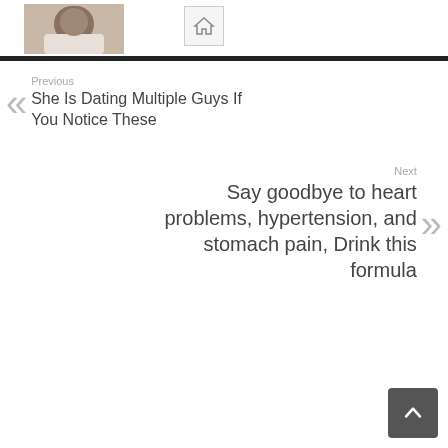[Figure (photo): Profile photo thumbnail of a person in a white shirt, partially visible]
[Figure (other): Home icon button with a house symbol inside a light grey bordered box]
Previous
She Is Dating Multiple Guys If You Notice These
Next
Say goodbye to heart problems, hypertension, and stomach pain, Drink this formula
[Figure (other): Back to top button — dark grey rounded square with white upward chevron arrow]